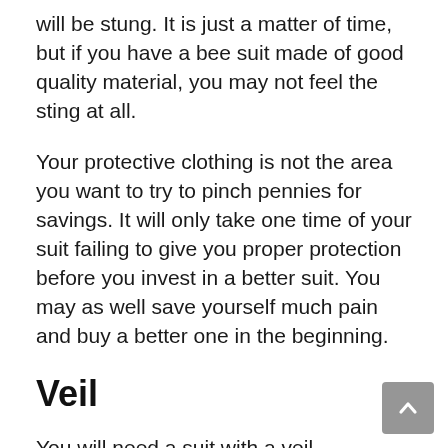will be stung. It is just a matter of time, but if you have a bee suit made of good quality material, you may not feel the sting at all.
Your protective clothing is not the area you want to try to pinch pennies for savings. It will only take one time of your suit failing to give you proper protection before you invest in a better suit. You may as well save yourself much pain and buy a better one in the beginning.
Veil
You will need a suit with a veil. However, you do not have to buy a suit that has a veil combination. You can buy your suit and then your veil separately. However, most prefer to